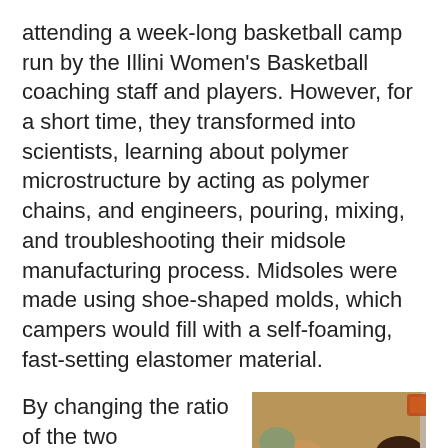attending a week-long basketball camp run by the Illini Women's Basketball coaching staff and players. However, for a short time, they transformed into scientists, learning about polymer microstructure by acting as polymer chains, and engineers, pouring, mixing, and troubleshooting their midsole manufacturing process. Midsoles were made using shoe-shaped molds, which campers would fill with a self-foaming, fast-setting elastomer material.
By changing the ratio of the two components, campers found they could control the energy recovery and toughness of
[Figure (photo): Two young girls kneeling on a blue tarp on a gymnasium floor, wearing purple gloves and working with mold materials for a shoe-making activity. One girl wears a patterned top with pink shorts, the other an orange t-shirt. Shoe molds and cups are visible on the tarp.]